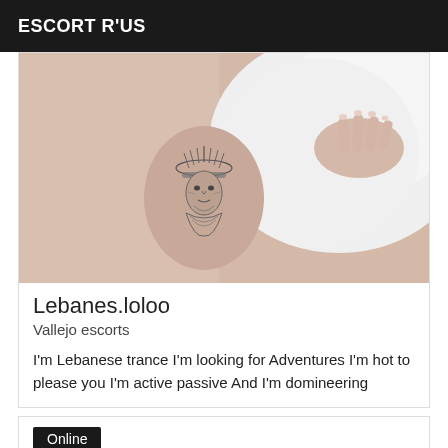ESCORT R'US
[Figure (photo): Close-up photo of a person's hip/thigh area with a Native American chief tattoo, lying on white bedding]
Lebanes.loloo
Vallejo escorts
I'm Lebanese trance I'm looking for Adventures I'm hot to please you I'm active passive And I'm domineering
Online